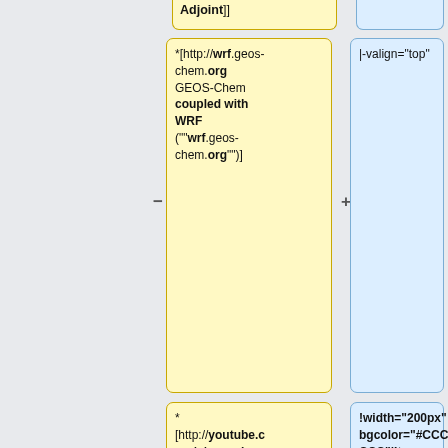Adjoint]]
|-valign="top"
*[http://wrf.geos-chem.org GEOS-Chem coupled with WRF (""wrf.geos-chem.org"")]
|-valign="top"
* [http://youtube.com/c/geoschem GEOS-Chem YouTube Channel (""youtube.com/c/geoschem"") &mdash;contains tutorial videos]
!width="200px" bgcolor="#CCCCCC"|Item
!width="360px" bgcolor="#CCC